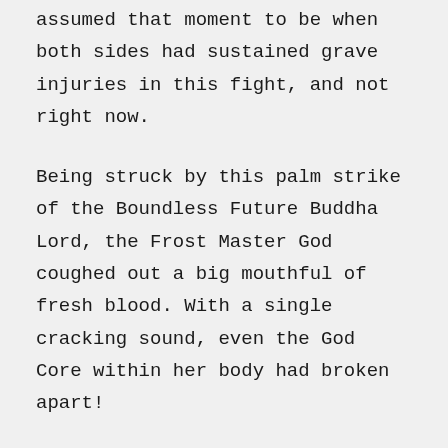assumed that moment to be when both sides had sustained grave injuries in this fight, and not right now.
Being struck by this palm strike of the Boundless Future Buddha Lord, the Frost Master God coughed out a big mouthful of fresh blood. With a single cracking sound, even the God Core within her body had broken apart!
Lin Fan caught the Frost Master God in his